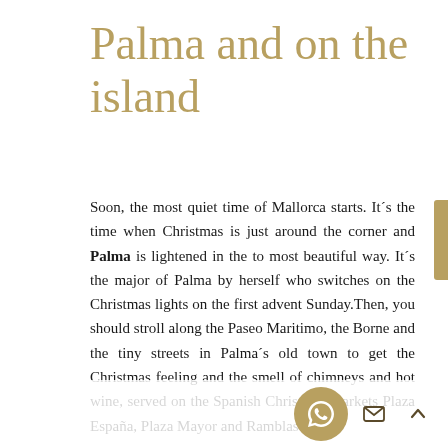Palma and on the island
Soon, the most quiet time of Mallorca starts. It´s the time when Christmas is just around the corner and Palma is lightened in the to most beautiful way. It´s the major of Palma by herself who switches on the Christmas lights on the first advent Sunday.Then, you should stroll along the Paseo Maritimo, the Borne and the tiny streets in Palma´s old town to get the Christmas feeling and the smell of chimneys and hot wine, served on the Spanish Christmas markets Plaza España, Plaza Mayor and Ramblas. These